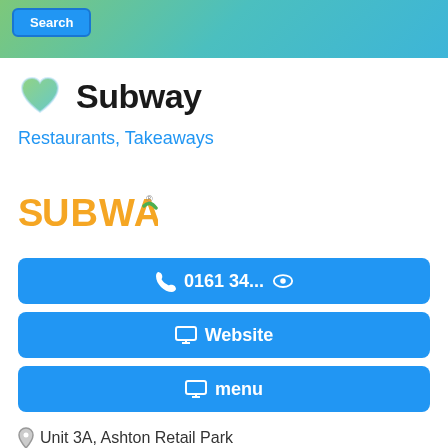[Figure (screenshot): Top banner with green-to-teal gradient background and a blue Search button]
Subway
Restaurants, Takeaways
[Figure (logo): Subway logo in yellow and green lettering]
0161 34...
Website
menu
Unit 3A, Ashton Retail Park
Unit 3, Ashton Retail Park
Ashton Under Lyne